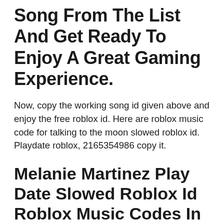Song From The List And Get Ready To Enjoy A Great Gaming Experience.
Now, copy the working song id given above and enjoy the free roblox id. Here are roblox music code for talking to the moon slowed roblox id. Playdate roblox, 2165354986 copy it.
Melanie Martinez Play Date Slowed Roblox Id Roblox Music Codes In 2020 Melanie Martinez Roblox Martinez Melanie